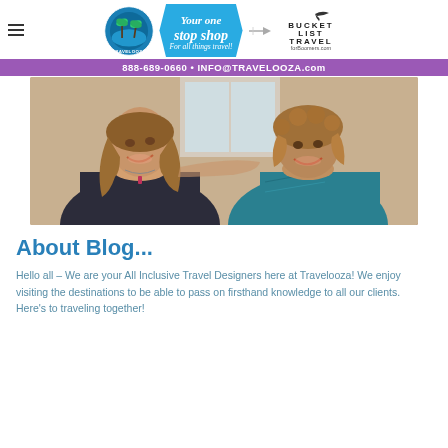Travelooza — Your one stop shop For all things travel! BUCKET LIST TRAVEL forBoomers.com | 888-689-0660 • INFO@TRAVELOOZA.com
[Figure (photo): Two smiling women sitting together indoors, one with long wavy brown hair wearing a dark floral top, the other with shorter curly reddish-brown hair wearing a teal patterned top.]
About Blog...
Hello all – We are your All Inclusive Travel Designers here at Travelooza! We enjoy visiting the destinations to be able to pass on firsthand knowledge to all our clients.  Here's to traveling together!